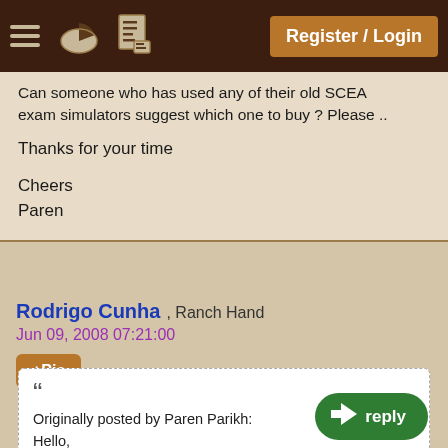Register / Login
Can someone who has used any of their old SCEA exam simulators suggest which one to buy ? Please ..

Thanks for your time

Cheers
Paren
Rodrigo Cunha , Ranch Hand
Jun 09, 2008 07:21:00
+Pie
““Originally posted by Paren Parikh:
Hello,

I have been evaluating SCEA5 exam simulators provided by Whizlabs and Epratize labs..